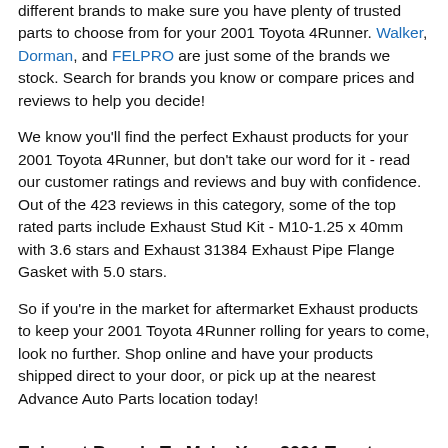different brands to make sure you have plenty of trusted parts to choose from for your 2001 Toyota 4Runner. Walker, Dorman, and FELPRO are just some of the brands we stock. Search for brands you know or compare prices and reviews to help you decide!
We know you'll find the perfect Exhaust products for your 2001 Toyota 4Runner, but don't take our word for it - read our customer ratings and reviews and buy with confidence. Out of the 423 reviews in this category, some of the top rated parts include Exhaust Stud Kit - M10-1.25 x 40mm with 3.6 stars and Exhaust 31384 Exhaust Pipe Flange Gasket with 5.0 stars.
So if you're in the market for aftermarket Exhaust products to keep your 2001 Toyota 4Runner rolling for years to come, look no further. Shop online and have your products shipped direct to your door, or pick up at the nearest Advance Auto Parts location today!
Exhaust Brands To Make Your 2001 Toyota 4Runner Last